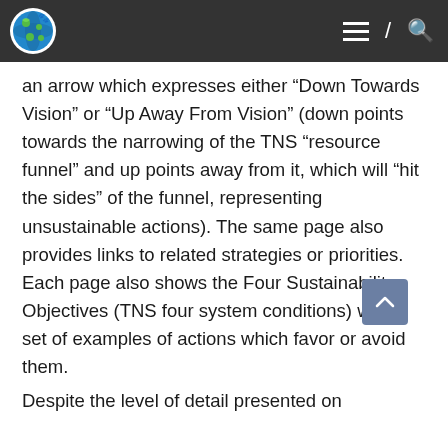an arrow which expresses either “Down Towards Vision” or “Up Away From Vision” (down points towards the narrowing of the TNS “resource funnel” and up points away from it, which will “hit the sides” of the funnel, representing unsustainable actions). The same page also provides links to related strategies or priorities. Each page also shows the Four Sustainability Objectives (TNS four system conditions) with a set of examples of actions which favor or avoid them.
Despite the level of detail presented on